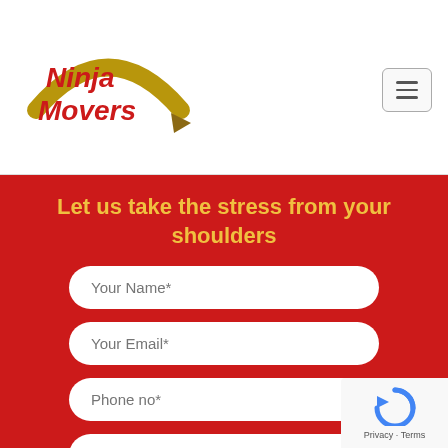[Figure (logo): Ninja Movers logo with stylized red text and brown swoosh/arrow graphic]
Let us take the stress from your shoulders
Your Name*
Your Email*
Phone no*
Moving Date*
From Zipcode*